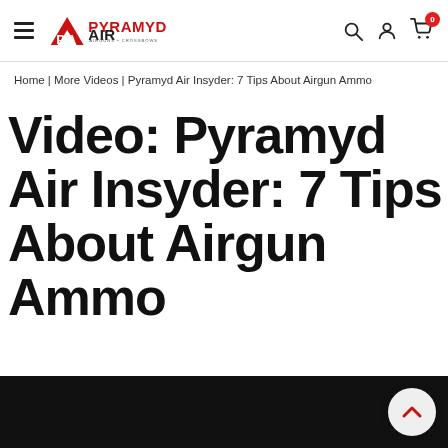Pyramyd Air — Airguns + Crossbows
Home | More Videos | Pyramyd Air Insyder: 7 Tips About Airgun Ammo
Video: Pyramyd Air Insyder: 7 Tips About Airgun Ammo
[Figure (screenshot): Black video player thumbnail area at the bottom of the page with a back-to-top chevron button in the lower right]